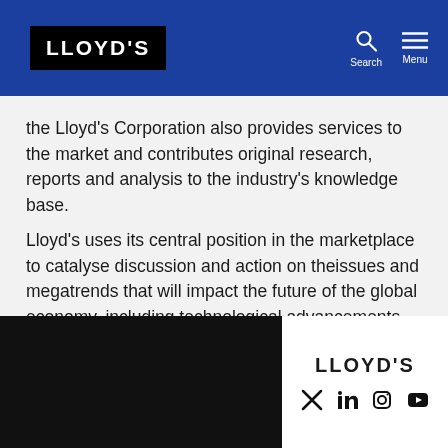LLOYD'S — Search | Menu
the Lloyd's Corporation also provides services to the market and contributes original research, reports and analysis to the industry's knowledge base.
Lloyd's uses its central position in the marketplace to catalyse discussion and action on theissues and megatrends that will impact the future of the global economy, including technological advancements, wealth inequality, political instability and climate change.
LLOYD'S — social icons: Twitter, LinkedIn, Instagram, YouTube